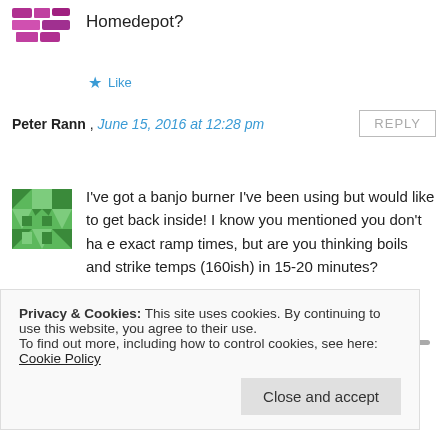Homedepot?
★ Like
Peter Rann , June 15, 2016 at 12:28 pm
REPLY
[Figure (illustration): Green geometric patterned avatar icon]
I've got a banjo burner I've been using but would like to get back inside! I know you mentioned you don't ha e exact ramp times, but are you thinking boils and strike temps (160ish) in 15-20 minutes?
★ Like
Privacy & Cookies: This site uses cookies. By continuing to use this website, you agree to their use.
To find out more, including how to control cookies, see here: Cookie Policy
Close and accept